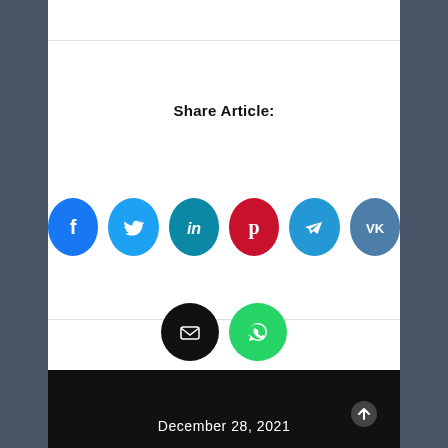Share Article:
[Figure (infographic): Social media share buttons: Facebook (blue), Twitter (light blue), LinkedIn (teal), Pinterest (red), Telegram (blue), VK (dark blue-grey), Email (black), WhatsApp (green)]
https://ul-avia.com/best-maybelline-lip
December 28, 2021